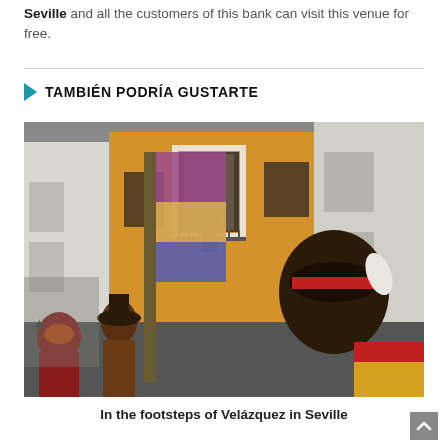Seville and all the customers of this bank can visit this venue for free.
TAMBIÉN PODRÍA GUSTARTE
[Figure (photo): Street scene in Seville showing carnival or festival participants in colorful costumes and hats in a narrow street with yellow and white buildings]
In the footsteps of Velázquez in Seville